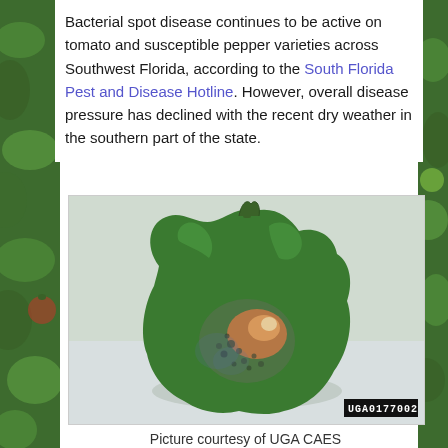Bacterial spot disease continues to be active on tomato and susceptible pepper varieties across Southwest Florida, according to the South Florida Pest and Disease Hotline. However, overall disease pressure has declined with the recent dry weather in the southern part of the state.
[Figure (photo): Close-up photograph of a green bell pepper showing bacterial spot disease lesions — discolored patches with orange, tan, and dark spotting on the surface. Photo credit label reads UGA0177002 in bottom right corner.]
Picture courtesy of UGA CAES